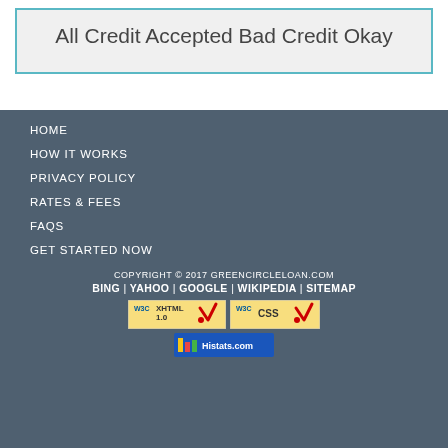All Credit Accepted Bad Credit Okay
HOME
HOW IT WORKS
PRIVACY POLICY
RATES & FEES
FAQS
GET STARTED NOW
COPYRIGHT © 2017 GREENCIRCLELOAN.COM
BING | YAHOO | GOOGLE | WIKIPEDIA | SITEMAP
[Figure (logo): W3C XHTML 1.0 validation badge, W3C CSS validation badge, and Histats.com counter badge]